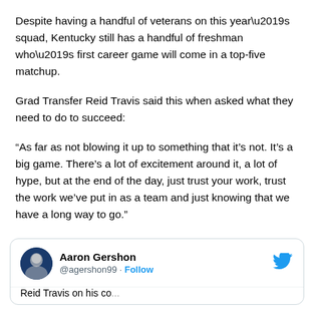Despite having a handful of veterans on this year’s squad, Kentucky still has a handful of freshman who’s first career game will come in a top-five matchup.
Grad Transfer Reid Travis said this when asked what they need to do to succeed:
“As far as not blowing it up to something that it’s not. It’s a big game. There’s a lot of excitement around it, a lot of hype, but at the end of the day, just trust your work, trust the work we’ve put in as a team and just knowing that we have a long way to go.”
[Figure (screenshot): Embedded tweet card from @agershon99 (Aaron Gershon) with Twitter bird logo and partial tweet text visible at bottom]